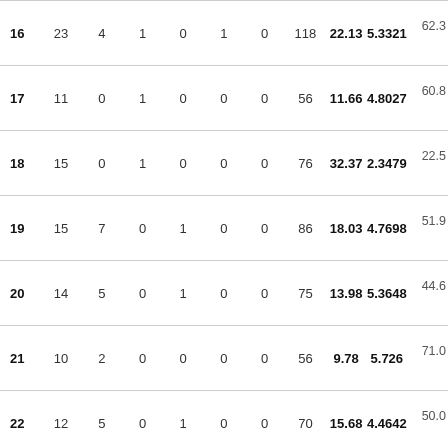|  |  |  |  |  |  |  |  |  |  |  |
| --- | --- | --- | --- | --- | --- | --- | --- | --- | --- | --- |
| 16 | 23 | 4 | 1 | 0 | 1 | 0 | 118 | 22.13 | 5.3321 | 62.3… |
| 17 | 11 | 0 | 1 | 0 | 0 | 0 | 56 | 11.66 | 4.8027 | 60.8… |
| 18 | 15 | 0 | 1 | 0 | 0 | 0 | 76 | 32.37 | 2.3479 | 22.5… |
| 19 | 15 | 7 | 0 | 1 | 0 | 0 | 86 | 18.03 | 4.7698 | 51.9… |
| 20 | 14 | 5 | 0 | 1 | 0 | 0 | 75 | 13.98 | 5.3648 | 44.6… |
| 21 | 10 | 2 | 0 | 0 | 0 | 0 | 56 | 9.78 | 5.726 | 71.0… |
| 22 | 12 | 5 | 0 | 1 | 0 | 0 | 70 | 15.68 | 4.4642 | 50.0… |